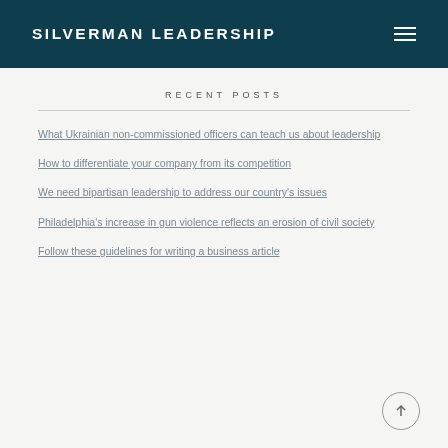SILVERMAN LEADERSHIP
RECENT POSTS
What Ukrainian non-commissioned officers can teach us about leadership
How to differentiate your company from its competition
We need bipartisan leadership to address our country's issues
Philadelphia's increase in gun violence reflects an erosion of civil society
Follow these guidelines for writing a business article